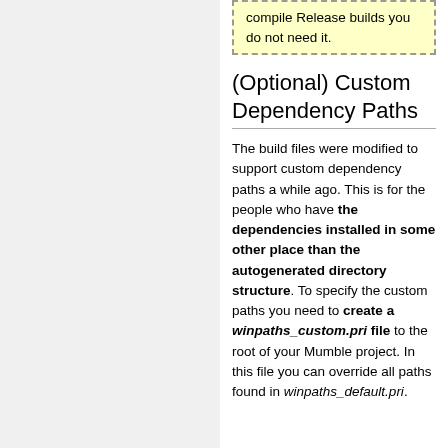compile Release builds you do not need it.
(Optional) Custom Dependency Paths
The build files were modified to support custom dependency paths a while ago. This is for the people who have the dependencies installed in some other place than the autogenerated directory structure. To specify the custom paths you need to create a winpaths_custom.pri file to the root of your Mumble project. In this file you can override all paths found in winpaths_default.pri.